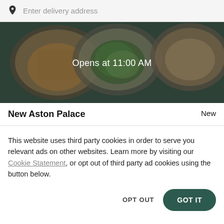Enter delivery address
[Figure (photo): Food banner showing plates of pasta, salad, and other dishes with a dark overlay. Text reads 'Opens at 11:00 AM']
New Aston Palace   New
This website uses third party cookies in order to serve you relevant ads on other websites. Learn more by visiting our Cookie Statement, or opt out of third party ad cookies using the button below.
OPT OUT
GOT IT